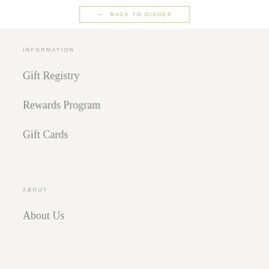← BACK TO DISHES
INFORMATION
Gift Registry
Rewards Program
Gift Cards
ABOUT
About Us